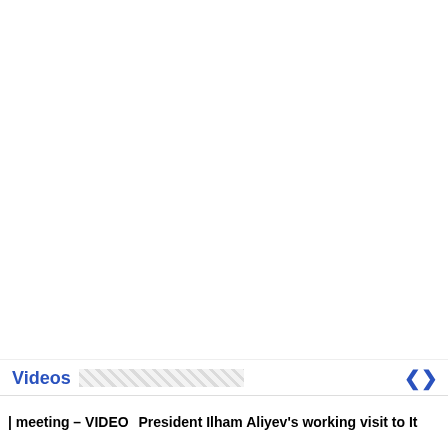Videos
| meeting – VIDEO   President Ilham Aliyev's working visit to It